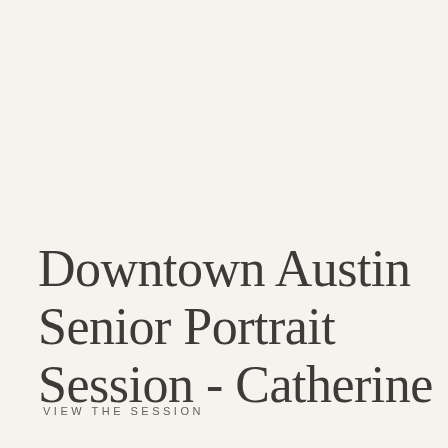Downtown Austin Senior Portrait Session - Catherine
VIEW THE SESSION